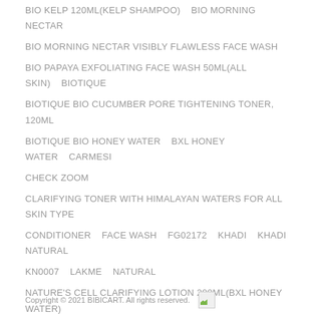BIO KELP 120ML(KELP SHAMPOO)    BIO MORNING NECTAR
BIO MORNING NECTAR VISIBLY FLAWLESS FACE WASH
BIO PAPAYA EXFOLIATING FACE WASH 50ML(ALL SKIN)    BIOTIQUE
BIOTIQUE BIO CUCUMBER PORE TIGHTENING TONER, 120ML
BIOTIQUE BIO HONEY WATER    BXL HONEY WATER    CARMESI
CHECK ZOOM
CLARIFYING TONER WITH HIMALAYAN WATERS FOR ALL SKIN TYPE
CONDITIONER    FACE WASH    FG02172    KHADI    KHADI NATURAL
KN0007    LAKME    NATURAL
NATURE'S CELL CLARIFYING LOTION 200ML(BXL HONEY WATER)
PPLB1299CARM02    PPLB1299CARM05    PPLB1299CARM09
PPLB1299CARM10    SHAMPOO    SKIN CARE    SOAP
UVA/UVB LOTION 5
Copyright © 2021 BIBICART. All rights reserved.